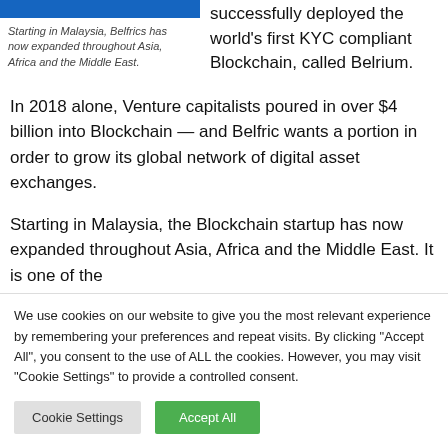[Figure (photo): Blue banner image at top left]
Starting in Malaysia, Belfrics has now expanded throughout Asia, Africa and the Middle East.
successfully deployed the world's first KYC compliant Blockchain, called Belrium.
In 2018 alone, Venture capitalists poured in over $4 billion into Blockchain — and Belfric wants a portion in order to grow its global network of digital asset exchanges.
Starting in Malaysia, the Blockchain startup has now expanded throughout Asia, Africa and the Middle East. It is one of the
We use cookies on our website to give you the most relevant experience by remembering your preferences and repeat visits. By clicking "Accept All", you consent to the use of ALL the cookies. However, you may visit "Cookie Settings" to provide a controlled consent.